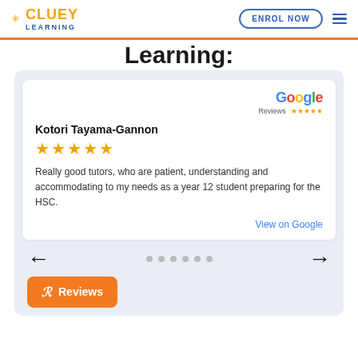CLUEY LEARNING — ENROL NOW
Learning:
Kotori Tayama-Gannon
★★★★★
Really good tutors, who are patient, understanding and accommodating to my needs as a year 12 student preparing for the HSC.
View on Google
Reviews